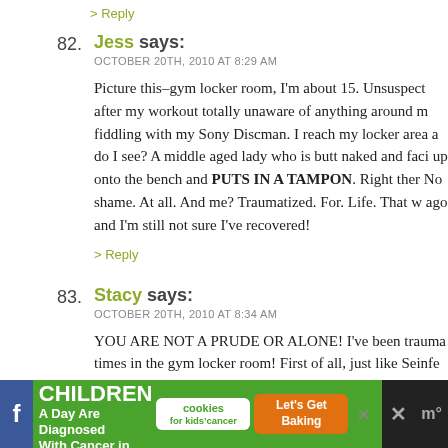> Reply
82. Jess says: OCTOBER 20TH, 2010 AT 8:29 AM — Picture this–gym locker room, I'm about 15. Unsuspect after my workout totally unaware of anything around m fiddling with my Sony Discman. I reach my locker area a do I see? A middle aged lady who is butt naked and faci up onto the bench and PUTS IN A TAMPON. Right ther No shame. At all. And me? Traumatized. For. Life. That w ago and I'm still not sure I've recovered!
> Reply
83. Stacy says: OCTOBER 20TH, 2010 AT 8:34 AM — YOU ARE NOT A PRUDE OR ALONE! I've been trauma times in the gym locker room! First of all, just like Seinfe
[Figure (screenshot): Advertisement banner: 43 Children A Day Are Diagnosed With Cancer in the U.S. — cookies for kids cancer — Let's Get Baking]